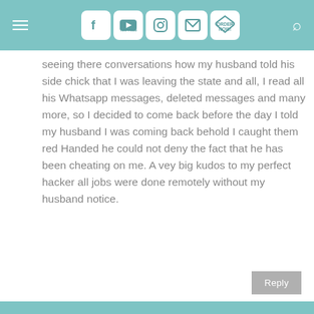Navigation header with menu, social icons (Facebook, YouTube, Instagram, Email, Order Now), and search
seeing there conversations how my husband told his side chick that I was leaving the state and all, I read all his Whatsapp messages, deleted messages and many more, so I decided to come back before the day I told my husband I was coming back behold I caught them red Handed he could not deny the fact that he has been cheating on me. A vey big kudos to my perfect hacker all jobs were done remotely without my husband notice.